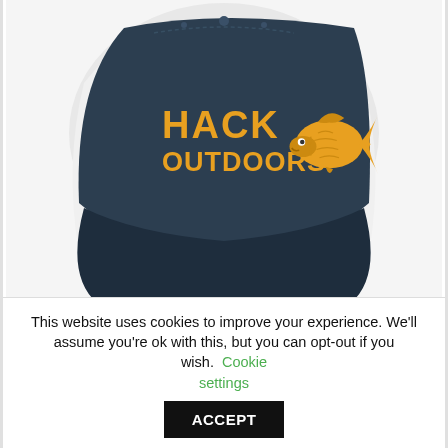[Figure (photo): A navy blue and white trucker cap with 'HACK OUTDOORS' text and a golden carp fish logo embroidered on the front panel]
Hack Outdoors Carp Fishing Trucker Cap
$22.00
This website uses cookies to improve your experience. We'll assume you're ok with this, but you can opt-out if you wish. Cookie settings ACCEPT